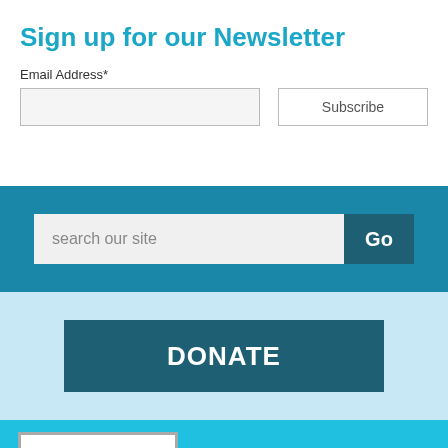Sign up for our Newsletter
Email Address*
[Figure (screenshot): Email input field (empty, light gray background) and a Subscribe button on the right]
[Figure (screenshot): Teal bar with a search input field labeled 'search our site' and a dark teal 'Go' button]
[Figure (screenshot): Light blue section with a dark teal DONATE button]
[Figure (screenshot): Cyan/turquoise section with a Platinum Transparency 2022 badge (white box with gray border)]